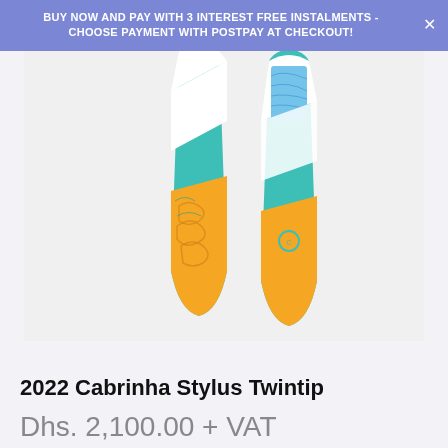BUY NOW AND PAY WITH 3 INTEREST FREE INSTALMENTS - CHOOSE PAYMENT WITH POSTPAY AT CHECKOUT!
[Figure (photo): Two Cabrinha Stylus Twintip kiteboarding boards side by side, showing teal/turquoise, white, and orange/yellow colorway designs]
2022 Cabrinha Stylus Twintip
Dhs. 2,100.00 + VAT
Size